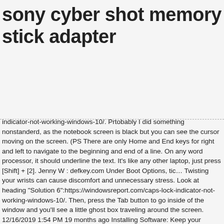sony cyber shot memory stick adapter
indicator-not-working-windows-10/. Prtobably I did something nonstanderd, as the notebook screen is black but you can see the cursor moving on the screen. (PS There are only Home and End keys for right and left to navigate to the beginning and end of a line. On any word processor, it should underline the text. It's like any other laptop, just press [Shift] + [2]. Jenny W : defkey.com Under Boot Options, tic… Twisting your wrists can cause discomfort and unnecessary stress. Look at heading "Solution 6":https://windowsreport.com/caps-lock-indicator-not-working-windows-10/. Then, press the Tab button to go inside of the window and you'll see a little ghost box traveling around the screen. 12/16/2019 1:54 PM 19 months ago Installing Software: Keep your laptop's software up to date. {"smallUrl":"https:\/\/www.wikihow.com\/images\/thumb\/c\/c6\/Use-a-Computer-Keyboard-Step-1-Version-2.jpg\/v4-460px-Use-a-Computer-Keyboard-Step-1-Version-2.jpg","bigUrl":"\/images\/thumb\/c\/c6\/Use-a-Computer-Keyboard-Step-1-Version-2.jpg\/aid1377382-v4-728px-Use-a-Computer-Keyboard-Step-1-Version-